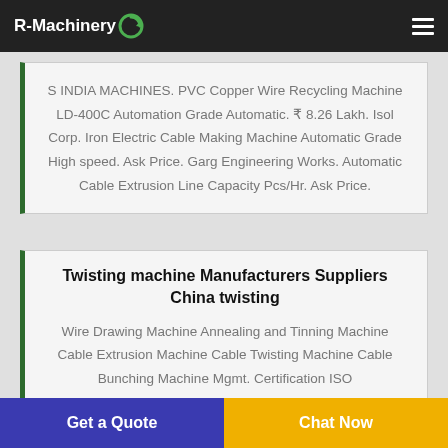R-Machinery
S INDIA MACHINES. PVC Copper Wire Recycling Machine LD-400C Automation Grade Automatic. ₹ 8.26 Lakh. Isol Corp. Iron Electric Cable Making Machine Automatic Grade High speed. Ask Price. Garg Engineering Works. Automatic Cable Extrusion Line Capacity Pcs/Hr. Ask Price.
Twisting machine Manufacturers Suppliers China twisting
Wire Drawing Machine Annealing and Tinning Machine Cable Extrusion Machine Cable Twisting Machine Cable Bunching Machine Mgmt. Certification ISO